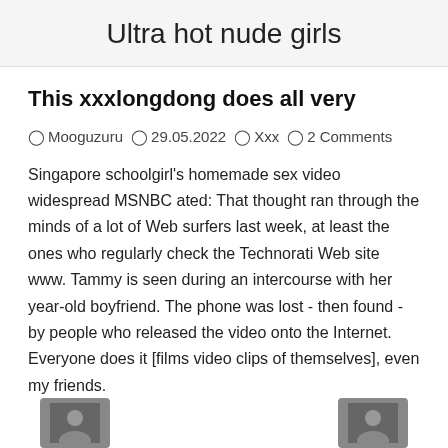Ultra hot nude girls
This xxxlongdong does all very
Mooguzuru  29.05.2022  Xxx  2 Comments
Singapore schoolgirl's homemade sex video widespread MSNBC ated: That thought ran through the minds of a lot of Web surfers last week, at least the ones who regularly check the Technorati Web site www. Tammy is seen during an intercourse with her year-old boyfriend. The phone was lost - then found - by people who released the video onto the Internet. Everyone does it [films video clips of themselves], even my friends.
[Figure (photo): Two partially visible photos at the bottom of the page]